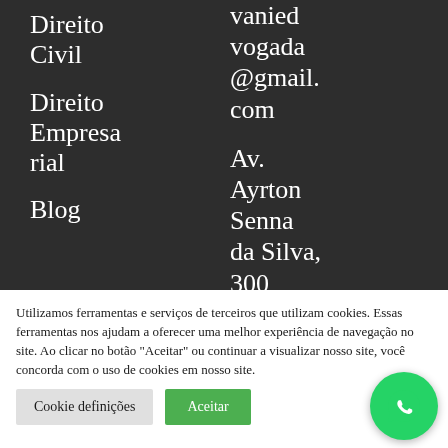Direito Civil
Direito Empresarial
Blog
vaniedadvogada@gmail.com
Av. Ayrton Senna da Silva, 300
Utilizamos ferramentas e serviços de terceiros que utilizam cookies. Essas ferramentas nos ajudam a oferecer uma melhor experiência de navegação no site. Ao clicar no botão "Aceitar" ou continuar a visualizar nosso site, você concorda com o uso de cookies em nosso site.
Cookie definições
Aceitar